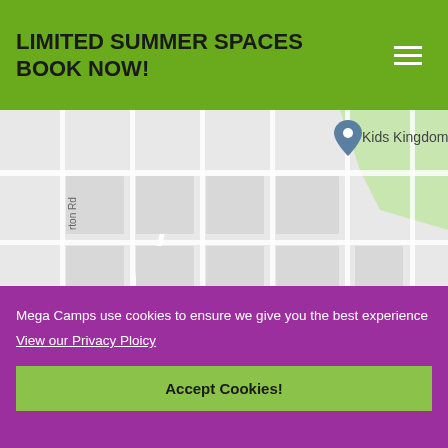LIMITED SUMMER SPACES BOOK NOW!
[Figure (map): Street map showing Kids Kingdom location and Southend High School for Girls, with roads including A13, A1159, and B1015 visible in Southchurch area]
Mega Camps use cookies to ensure we give you the best experience
View our Privacy Ploicy
Accept Cookies!